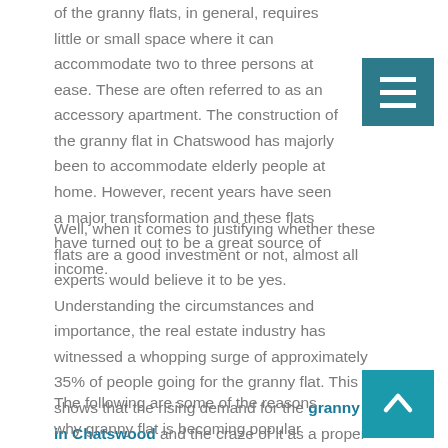of the granny flats, in general, requires little or small space where it can accommodate two to three persons at ease. These are often referred to as an accessory apartment. The construction of the granny flat in Chatswood has majorly been to accommodate elderly people at home. However, recent years have seen a major transformation and these flats have turned out to be a great source of income.
Well, when it comes to justifying whether these flats are a good investment or not, almost all experts would believe it to be yes. Understanding the circumstances and importance, the real estate industry has witnessed a whopping surge of approximately 35% of people going for the granny flat. This shows that the rising demand for the granny flat in Chatswood and the craze of it as a proper investment.
The following are some of the reasons why granny flat is becoming popular amongst the people in the market –